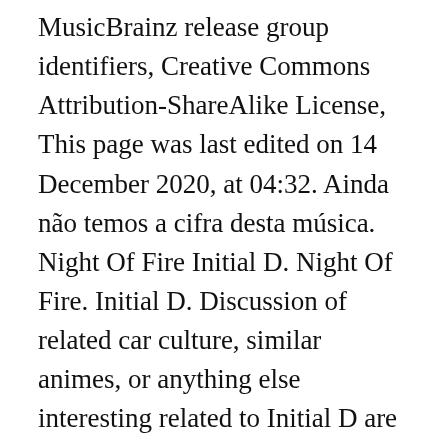MusicBrainz release group identifiers, Creative Commons Attribution-ShareAlike License, This page was last edited on 14 December 2020, at 04:32. Ainda não temos a cifra desta música. Night Of Fire Initial D. Night Of Fire. Initial D. Discussion of related car culture, similar animes, or anything else interesting related to Initial D are encouraged. Recommendations for Harmonic Mixing. Download Night of fire From Initial D on Hungama Music app & get access to New anime nation (Openings and Endings Vol. Watch the video for Night Of Fire by Initial D for free, and see the artwork, lyrics and similar artists. Night of Fire, [Para Para Paradise] By Niko, Initial D, lyrics,song lyrics,music